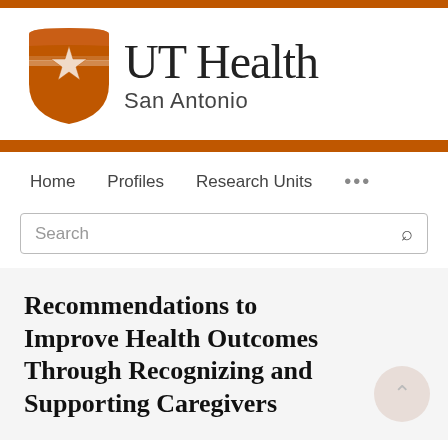[Figure (logo): UT Health San Antonio logo with orange shield containing a star and the text UT Health San Antonio]
Home   Profiles   Research Units   ...
Search
Recommendations to Improve Health Outcomes Through Recognizing and Supporting Caregivers